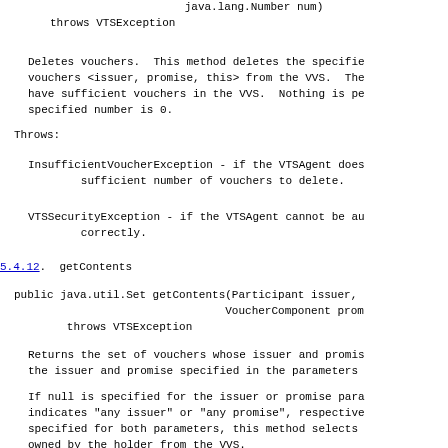java.lang.Number num)
    throws VTSException
Deletes vouchers.  This method deletes the specified vouchers <issuer, promise, this> from the VVS.  The have sufficient vouchers in the VVS.  Nothing is pe specified number is 0.
Throws:
InsufficientVoucherException - if the VTSAgent does sufficient number of vouchers to delete.
VTSSecurityException - if the VTSAgent cannot be au correctly.
5.4.12.  getContents
public java.util.Set getContents(Participant issuer,
                                VoucherComponent prom
        throws VTSException
Returns the set of vouchers whose issuer and promis the issuer and promise specified in the parameters
If null is specified for the issuer or promise para indicates "any issuer" or "any promise", respective specified for both parameters, this method selects owned by the holder from the VVS.